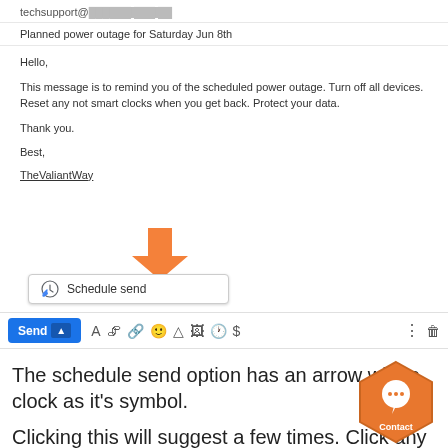techsupport@[redacted]
Planned power outage for Saturday Jun 8th
Hello,
This message is to remind you of the scheduled power outage. Turn off all devices. Reset any not smart clocks when you get back. Protect your data.
Thank you.
Best,
TheValiantWay
[Figure (screenshot): Gmail compose window showing 'Schedule send' popup menu above the Send button toolbar, with an orange arrow pointing down to the Schedule send option.]
The schedule send option has an arrow with a clock as it's symbol.
Clicking this will suggest a few times. Click any se times to finalize your schedule or you can click "pick a